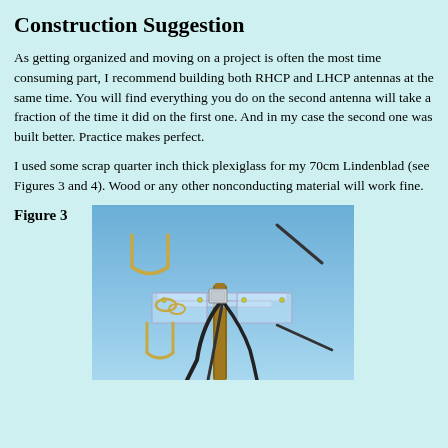Construction Suggestion
As getting organized and moving on a project is often the most time consuming part, I recommend building both RHCP and LHCP antennas at the same time. You will find everything you do on the second antenna will take a fraction of the time it did on the first one. And in my case the second one was built better. Practice makes perfect.
I used some scrap quarter inch thick plexiglass for my 70cm Lindenblad (see Figures 3 and 4). Wood or any other nonconducting material will work fine.
Figure 3
[Figure (photo): Photograph of a Lindenblad antenna mounted on a pole, showing a plexiglass frame with multiple antenna elements arranged at angles, against a blue sky background.]